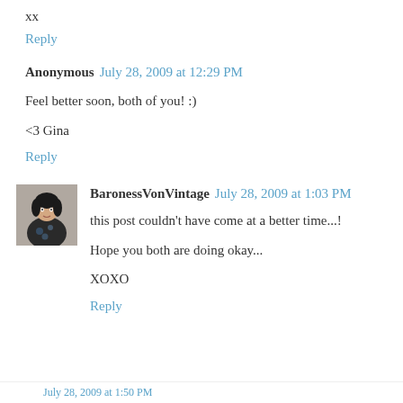xx
Reply
Anonymous  July 28, 2009 at 12:29 PM
Feel better soon, both of you! :)
<3 Gina
Reply
BaronessVonVintage  July 28, 2009 at 1:03 PM
this post couldn't have come at a better time...!
Hope you both are doing okay...
XOXO
Reply
July 28, 2009 at 1:50 PM